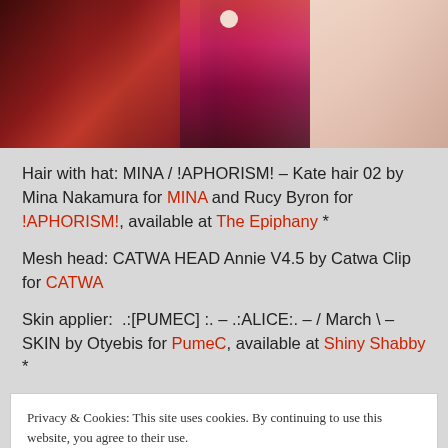[Figure (photo): Screenshot of virtual avatar characters with red hair, one wearing a pink and black patterned top, another with a pearl necklace visible]
Hair with hat: MINA / !APHORISM! – Kate hair 02 by Mina Nakamura for MINA and Rucy Byron for !APHORISM!, available at The Epiphany *
Mesh head: CATWA HEAD Annie V4.5 by Catwa Clip for CATWA
Skin applier:  .:[PUMEC] :. – .:ALICE:. – / March \ – SKIN by Otyebis for PumeC, available at Shiny Shabby *
Privacy & Cookies: This site uses cookies. By continuing to use this website, you agree to their use.
To find out more, including how to control cookies, see here: Cookie Policy